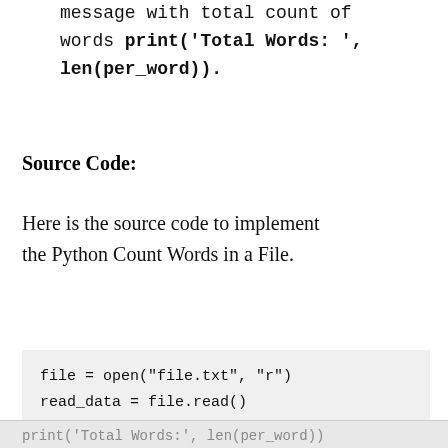message with total count of words print('Total Words: ', len(per_word)).
Source Code:
Here is the source code to implement the Python Count Words in a File.
file = open("file.txt", "r")
read_data = file.read()
per_word = read_data.split()
print('Total Words:', len(per_word))